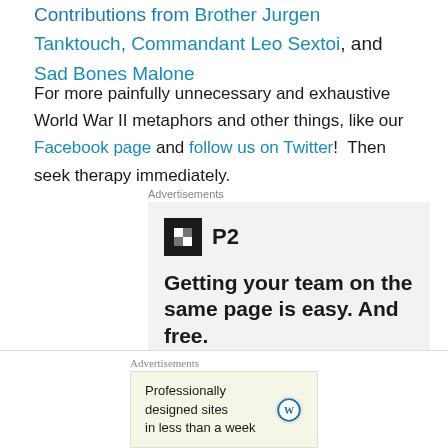Contributions from Brother Jurgen Tanktouch, Commandant Leo Sextoi, and Sad Bones Malone
For more painfully unnecessary and exhaustive World War II metaphors and other things, like our Facebook page and follow us on Twitter!  Then seek therapy immediately.
Advertisements
[Figure (other): Advertisement for P2 by WordPress: logo with black square icon and P2 text, headline 'Getting your team on the same page is easy. And free.' with circular avatars at bottom.]
Advertisements
[Figure (other): WordPress advertisement: 'Professionally designed sites in less than a week' with WordPress logo.]